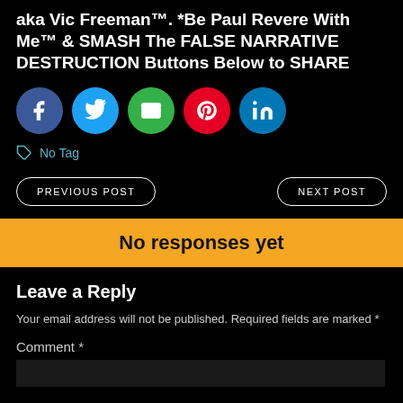aka Vic Freeman™. *Be Paul Revere With Me™ & SMASH The FALSE NARRATIVE DESTRUCTION Buttons Below to SHARE
[Figure (infographic): Row of five social share buttons: Facebook (blue circle, f icon), Twitter (light blue circle, bird icon), Email (green circle, envelope icon), Pinterest (red circle, p icon), LinkedIn (blue circle, in icon)]
No Tag
PREVIOUS POST
NEXT POST
No responses yet
Leave a Reply
Your email address will not be published. Required fields are marked *
Comment *